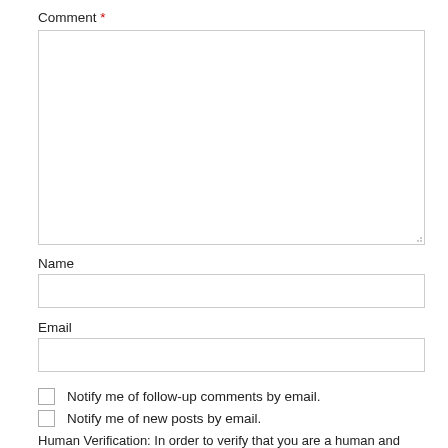Comment *
[Figure (other): Large empty comment textarea with resize handle in bottom-right corner]
Name
[Figure (other): Single-line text input box for Name]
Email
[Figure (other): Single-line text input box for Email]
Notify me of follow-up comments by email.
Notify me of new posts by email.
Human Verification: In order to verify that you are a human and